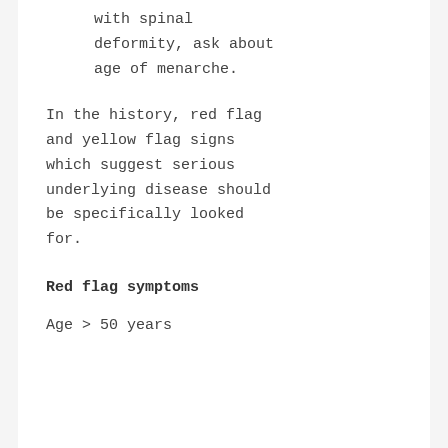with spinal deformity, ask about age of menarche.
In the history, red flag and yellow flag signs which suggest serious underlying disease should be specifically looked for.
Red flag symptoms
Age > 50 years